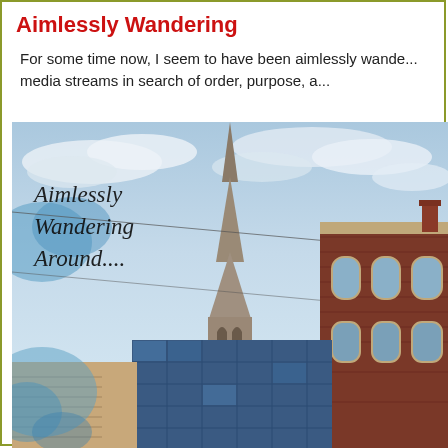Aimlessly Wandering
For some time now, I seem to have been aimlessly wande... media streams in search of order, purpose, a...
[Figure (photo): Photo of a city scene showing a tall Gothic church spire rising above modern and Victorian brick buildings, with text overlay reading 'Aimlessly Wandering Around....' in italic font]